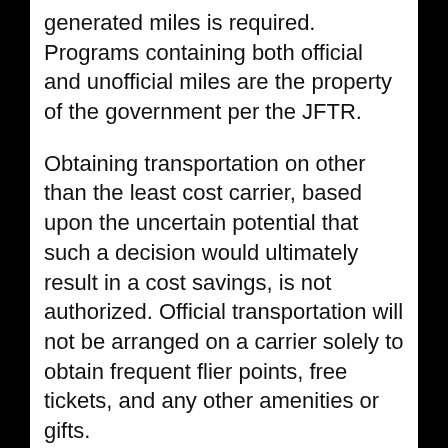generated miles is required. Programs containing both official and unofficial miles are the property of the government per the JFTR.
Obtaining transportation on other than the least cost carrier, based upon the uncertain potential that such a decision would ultimately result in a cost savings, is not authorized. Official transportation will not be arranged on a carrier solely to obtain frequent flier points, free tickets, and any other amenities or gifts.
To the maximum extent practical, overall travel costs should be reduced by using benefits earned through frequent traveler programs to obtain free airline tickets, rooms, and rental vehicles. However, the member may elect to use earned